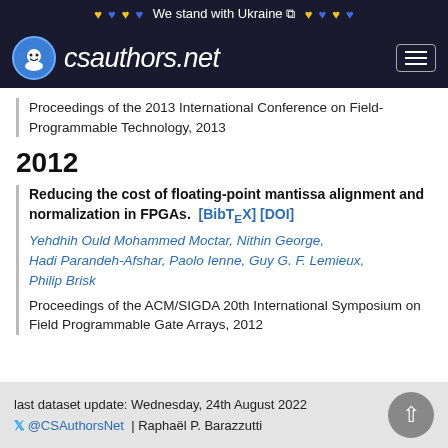We stand with Ukraine 🔗
[Figure (logo): csauthors.net logo with smiley face icon and hamburger menu]
Proceedings of the 2013 International Conference on Field-Programmable Technology, 2013
2012
Reducing the cost of floating-point mantissa alignment and normalization in FPGAs. [BibTeX] [DOI]
Yehdhih Ould Mohammed Moctar, Nithin George, Hadi Parandeh-Afshar, Paolo Ienne, Guy G. F. Lemieux, Philip Brisk
Proceedings of the ACM/SIGDA 20th International Symposium on Field Programmable Gate Arrays, 2012
last dataset update: Wednesday, 24th August 2022
@CSAuthorsNet | Raphaël P. Barazzutti